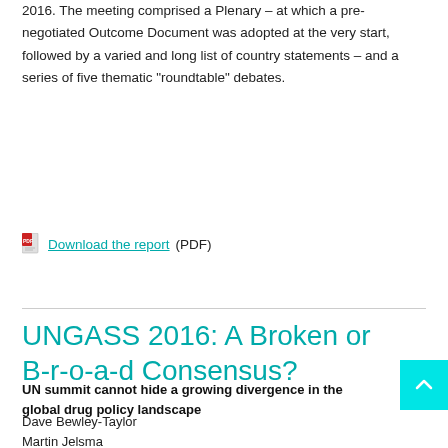2016. The meeting comprised a Plenary – at which a pre-negotiated Outcome Document was adopted at the very start, followed by a varied and long list of country statements – and a series of five thematic "roundtable" debates.
Download the report (PDF)
READ MORE...
UNGASS 2016: A Broken or B-r-o-a-d Consensus?
UN summit cannot hide a growing divergence in the global drug policy landscape
Dave Bewley-Taylor
Martin Jelsma